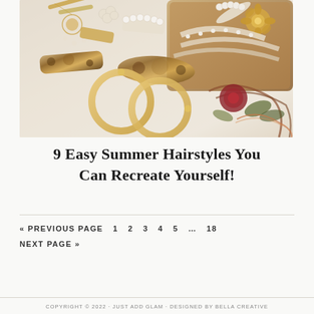[Figure (photo): Flat lay of hair accessories including pearl clips, tortoiseshell clips, gold hoop earrings, and a bouquet of dried flowers and roses on a white surface with a tray.]
9 Easy Summer Hairstyles You Can Recreate Yourself!
« PREVIOUS PAGE  1  2  3  4  5  …  18  NEXT PAGE »
COPYRIGHT © 2022 · JUST ADD GLAM · DESIGNED BY BELLA CREATIVE